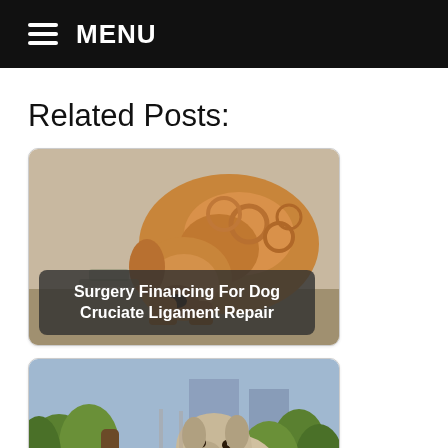MENU
Related Posts:
[Figure (photo): A curly golden/apricot dog bending its head down, card with overlay text 'Surgery Financing For Dog Cruciate Ligament Repair']
[Figure (photo): A small dog sitting among green plants near a tree, card with overlay text 'Does A Dog’s Size Impact Surgery Success For Cruciate...']